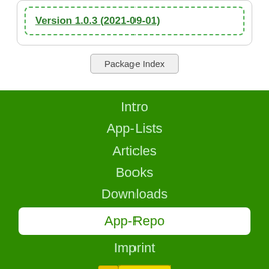Version 1.0.3 (2021-09-01)
Package Index
Intro
App-Lists
Articles
Books
Downloads
App-Repo
Imprint
[Figure (other): Say Thanks button with thumbs up icon]